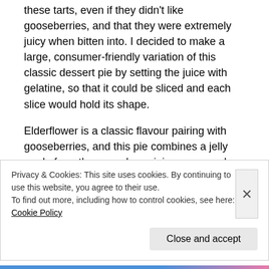these tarts, even if they didn't like gooseberries, and that they were extremely juicy when bitten into. I decided to make a large, consumer-friendly variation of this classic dessert pie by setting the juice with gelatine, so that it could be sliced and each slice would hold its shape.
Elderflower is a classic flavour pairing with gooseberries, and this pie combines a jelly made from the gooseberry juice syrup and elderflower cordial with fresh gooseberries and a sweetened hot water crust. The jelly is sweet and delicately flavoured and the gooseberries are so sharp, the contrast
Privacy & Cookies: This site uses cookies. By continuing to use this website, you agree to their use.
To find out more, including how to control cookies, see here: Cookie Policy
Close and accept